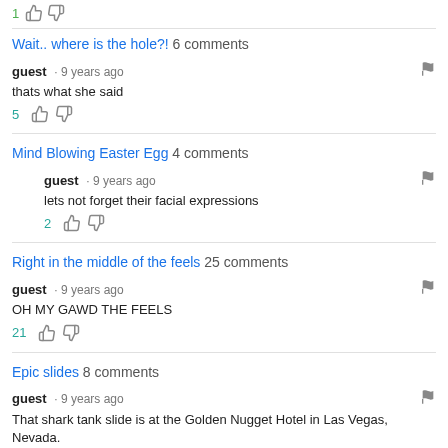1 [thumbs up] [thumbs down]
Wait.. where is the hole?! 6 comments
guest · 9 years ago
thats what she said
5 [thumbs up] [thumbs down]
Mind Blowing Easter Egg 4 comments
guest · 9 years ago
lets not forget their facial expressions
2 [thumbs up] [thumbs down]
Right in the middle of the feels 25 comments
guest · 9 years ago
OH MY GAWD THE FEELS
21 [thumbs up] [thumbs down]
Epic slides 8 comments
guest · 9 years ago
That shark tank slide is at the Golden Nugget Hotel in Las Vegas, Nevada.